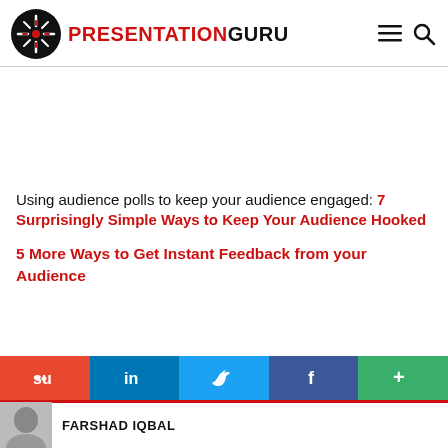PRESENTATION GURU
Using audience polls to keep your audience engaged: 7 Surprisingly Simple Ways to Keep Your Audience Hooked
5 More Ways to Get Instant Feedback from your Audience
FARSHAD IQBAL